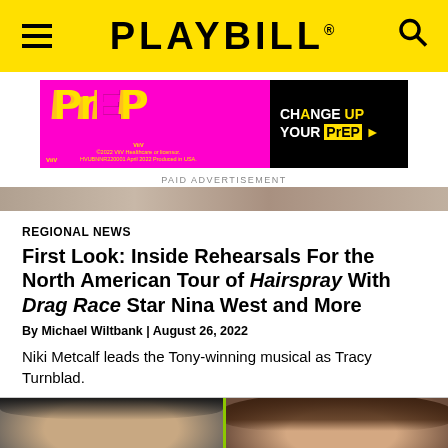PLAYBILL
[Figure (photo): PrEP advertisement: CHANGE UP YOUR PrEP — magenta and black background with yellow PrEP logo text. ViiV Healthcare. ©2022 ViiV Healthcare or licensor. HVUBNNR220001 April 2022 Produced in USA.]
PAID ADVERTISEMENT
[Figure (photo): Partial photo strip showing tops of heads of multiple people]
REGIONAL NEWS
First Look: Inside Rehearsals For the North American Tour of Hairspray With Drag Race Star Nina West and More
By Michael Wiltbank | August 26, 2022
Niki Metcalf leads the Tony-winning musical as Tracy Turnblad.
[Figure (photo): Two headshots side by side: left shows a male actor with dark hair and strong features against a grey background; right shows a female actor with curly brown hair]